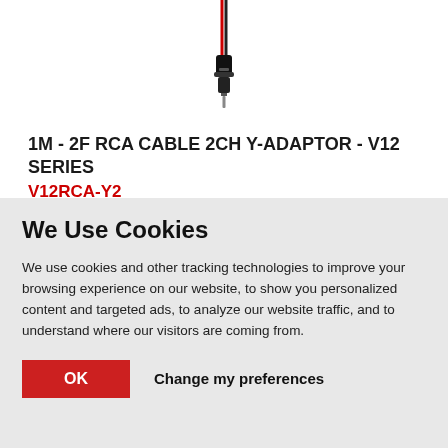[Figure (photo): RCA cable 2CH Y-adaptor product image on white background, showing a small black connector with red and black wires at the top]
1M - 2F RCA CABLE 2CH Y-ADAPTOR - V12 SERIES
V12RCA-Y2
We Use Cookies
We use cookies and other tracking technologies to improve your browsing experience on our website, to show you personalized content and targeted ads, to analyze our website traffic, and to understand where our visitors are coming from.
OK   Change my preferences